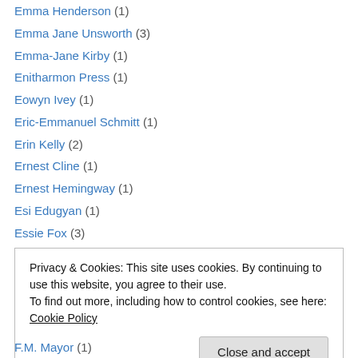Emma Henderson (1)
Emma Jane Unsworth (3)
Emma-Jane Kirby (1)
Enitharmon Press (1)
Eowyn Ivey (1)
Eric-Emmanuel Schmitt (1)
Erin Kelly (2)
Ernest Cline (1)
Ernest Hemingway (1)
Esi Edugyan (1)
Essie Fox (3)
Etty Hillesum (1)
Eudora Welty (1)
Privacy & Cookies: This site uses cookies. By continuing to use this website, you agree to their use. To find out more, including how to control cookies, see here: Cookie Policy
F.M. Mayor (1)